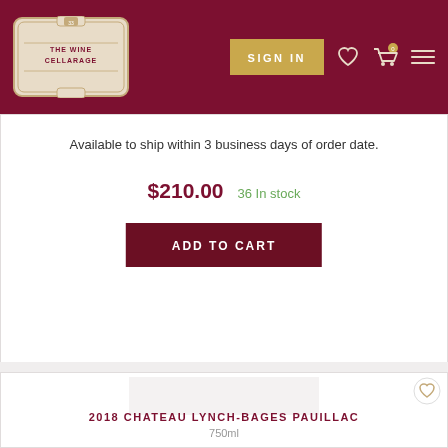[Figure (logo): The Wine Cellarage logo — ornate beige/cream badge shape on dark red header background]
Available to ship within 3 business days of order date.
$210.00  36 In stock
ADD TO CART
[Figure (photo): Product image placeholder (light gray rectangle) for 2018 Chateau Lynch-Bages Pauillac]
2018 CHATEAU LYNCH-BAGES PAUILLAC
750ml